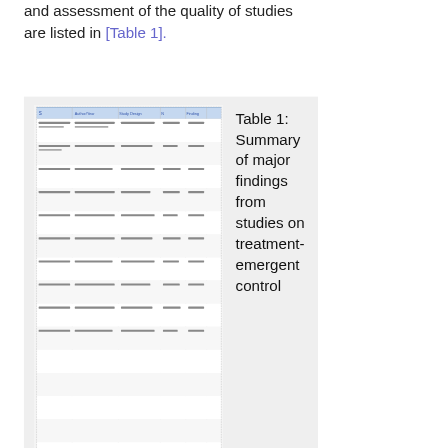and assessment of the quality of studies are listed in [Table 1].
[Figure (table-as-image): Thumbnail image of a data table showing study results]
Table 1: Summary of major findings from studies on treatment-emergent control
This website uses cookies. By continuing to use this website you are giving consent to cookies being used. For information on cookies and how you can disable them visit our
Privacy and Cookie Policy.
AGREE & PROCEED
was between 5.0% and 12.1% where as it was